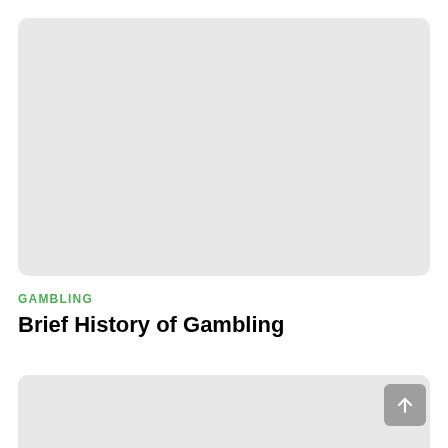[Figure (photo): Top image placeholder – light gray rounded rectangle]
GAMBLING
Brief History of Gambling
[Figure (photo): Bottom image placeholder – light gray rounded rectangle]